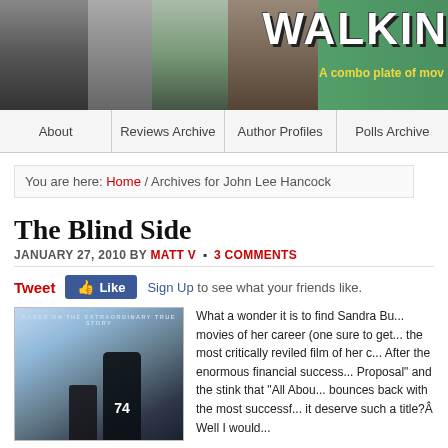[Figure (illustration): Website banner with movie character figures (Braveheart, Audrey Hepburn, Star Wars, Pirates of the Caribbean) and 'WALKING' title text with subtitle 'A combo plate of mov...']
About | Reviews Archive | Author Profiles | Polls Archive
You are here: Home / Archives for John Lee Hancock
The Blind Side
JANUARY 27, 2010 BY MATT V • 3 COMMENTS
Tweet  Like  Sign Up to see what your friends like.
[Figure (photo): The Blind Side movie poster showing silhouettes of a large football player (#74) and a smaller woman walking, with text 'BASED ON THE EXTRAORDINARY TRUE STORY']
What a wonder it is to find Sandra Bu... movies of her career (one sure to get... the most critically reviled film of her c... After the enormous financial success... Proposal" and the stink that "All Abou... bounces back with the most successf... it deserve such a title? Well I would...